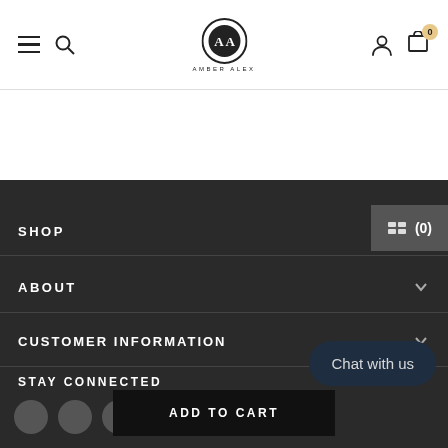[Figure (logo): Amber Alex brand logo — circular monogram with 'AA' initials and brand name below]
Navigation header with hamburger menu, search icon, Amber Alex logo, user icon, and cart icon with badge 0
SHOP
ABOUT
CUSTOMER INFORMATION
STAY CONNECTED
Chat with us
ADD TO CART